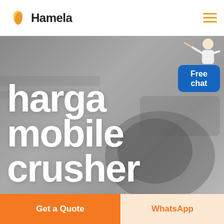[Figure (logo): Hamela logo with golden/orange leaf-like icon and bold text 'Hamela']
harga mobile crusher
[Figure (illustration): Free chat button with illustrated person figure above it pointing; button is blue with white text 'Free chat']
[Figure (screenshot): Hero background banner — grey industrial background with large white bold text 'harga mobile crusher']
Get a Quote
WhatsApp